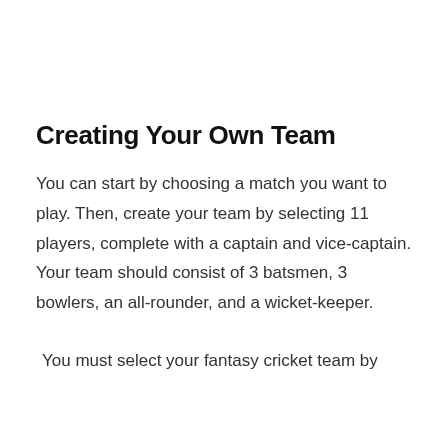Creating Your Own Team
You can start by choosing a match you want to play. Then, create your team by selecting 11 players, complete with a captain and vice-captain. Your team should consist of 3 batsmen, 3 bowlers, an all-rounder, and a wicket-keeper.
You must select your fantasy cricket team by